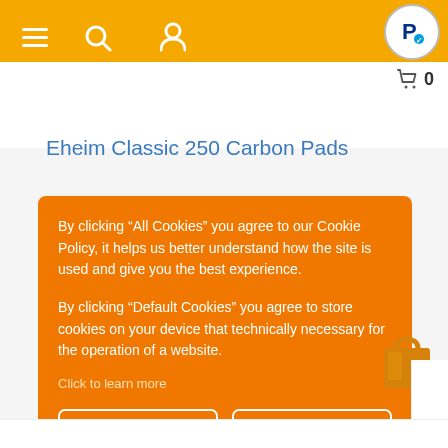Navigation bar with hamburger menu, search icon, user icon, PayPal logo, cart icon, and count 0
Eheim Classic 250 Carbon Pads
By clicking “All Cookies” you agree to our Cookie Policy, it helps us better understand how the site is used and give you the best experience.
By clicking "Default Cookies" you agree to store cookies on your device that technically necessary for the operation of a website.
Click to learn more